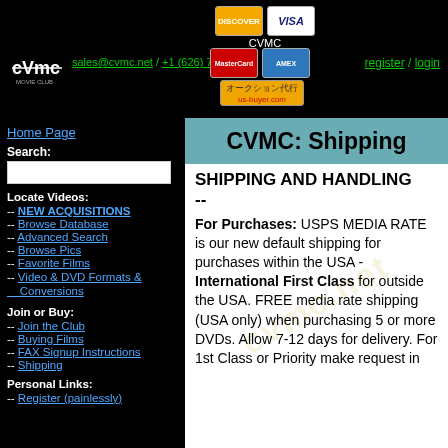CVMC Movie Club header with logo, sales@cvmc.net / +1 (626) 789-6479, credit card logos (Discover, Visa, MasterCard, Amex), CVMC label, us-buyer.com banner, register / login links
Home Page
Search:
Locate Videos:
-- NEW ACQUISITIONS
-- Browse Database
-- Advanced Search
-- Browse Pics
-- Favorite Films
-- Video & DVD Formats & Conversions
Join or Buy:
-- Join the Club
-- Buying Films
-- FAX Signup Instructions
-- Shipping
Personal Links:
-- Register (painlessly)
CVMC: Shipping
SHIPPING AND HANDLING --
For Purchases: USPS MEDIA RATE is our new default shipping for purchases within the USA - International First Class for outside the USA. FREE media rate shipping (USA only) when purchasing 5 or more DVDs. Allow 7-12 days for delivery. For 1st Class or Priority make request in